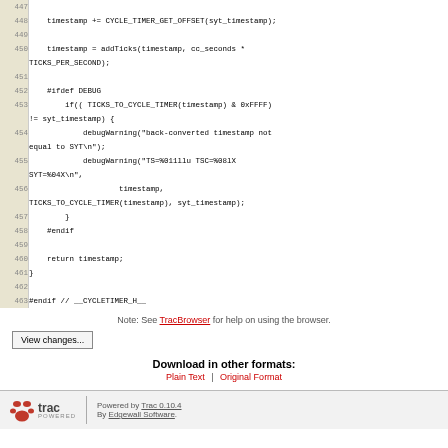[Figure (screenshot): Source code viewer showing lines 447-463 of a C header file with cycle timer functions, displayed in a Trac browser with line numbers on the left and code on the right]
Note: See TracBrowser for help on using the browser.
View changes...
Download in other formats:
Plain Text | Original Format
Powered by Trac 0.10.4 By Edgewall Software.